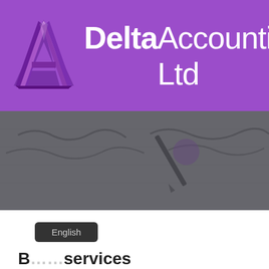[Figure (logo): Delta Accounting Ltd logo: purple 3D triangular 'A' shape on purple banner background with company name 'Delta Accounting Ltd' in white text]
[Figure (photo): Dimmed/darkened photo of handwritten accounting documents or financial paperwork with pen, used as decorative banner]
English
B... services